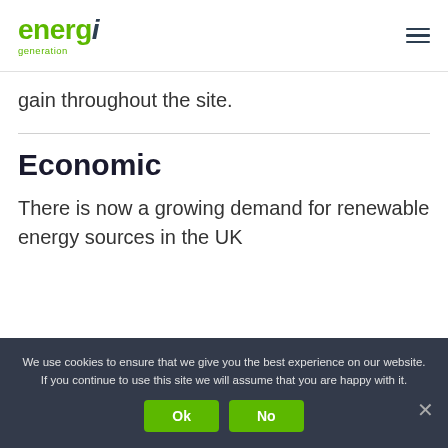energi generation
gain throughout the site.
Economic
There is now a growing demand for renewable energy sources in the UK
We use cookies to ensure that we give you the best experience on our website. If you continue to use this site we will assume that you are happy with it.